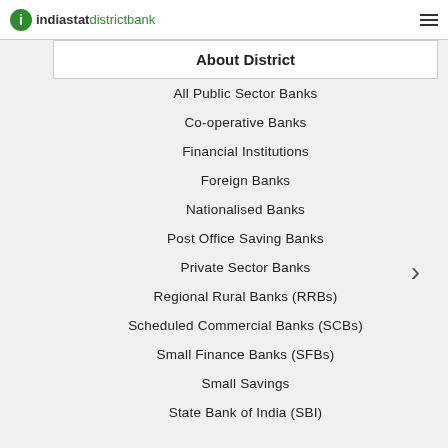indiastat districtbank
About District
All Public Sector Banks
Co-operative Banks
Financial Institutions
Foreign Banks
Nationalised Banks
Post Office Saving Banks
Private Sector Banks
Regional Rural Banks (RRBs)
Scheduled Commercial Banks (SCBs)
Small Finance Banks (SFBs)
Small Savings
State Bank of India (SBI)